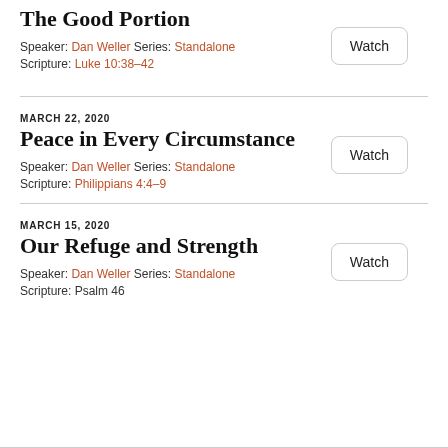The Good Portion
Speaker: Dan Weller Series: Standalone
Scripture: Luke 10:38–42
MARCH 22, 2020
Peace in Every Circumstance
Speaker: Dan Weller Series: Standalone
Scripture: Philippians 4:4–9
MARCH 15, 2020
Our Refuge and Strength
Speaker: Dan Weller Series: Standalone
Scripture: Psalm 46